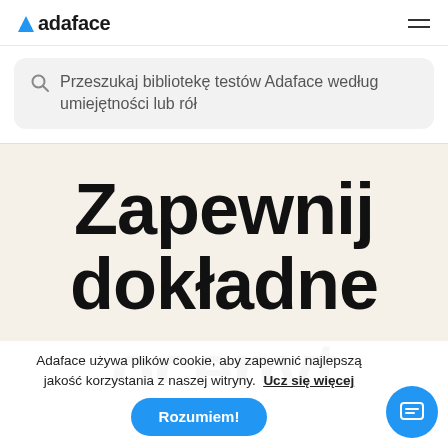adaface
Przeszukaj bibliotekę testów Adaface według umiejętności lub rół
Zapewnij dokładne
Adaface używa plików cookie, aby zapewnić najlepszą jakość korzystania z naszej witryny. Ucz się więcej
Rozumiem!